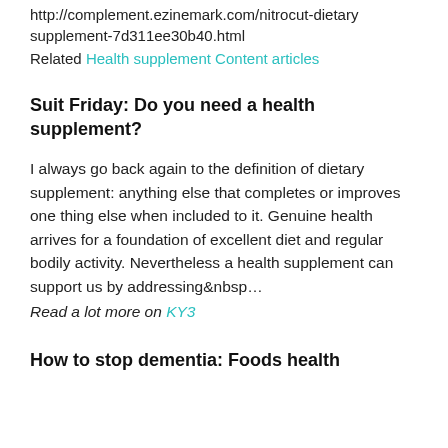http://complement.ezinemark.com/nitrocut-dietary supplement-7d311ee30b40.html
Related Health supplement Content articles
Suit Friday: Do you need a health supplement?
I always go back again to the definition of dietary supplement: anything else that completes or improves one thing else when included to it. Genuine health arrives for a foundation of excellent diet and regular bodily activity. Nevertheless a health supplement can support us by addressing …
Read a lot more on KY3
How to stop dementia: Foods health